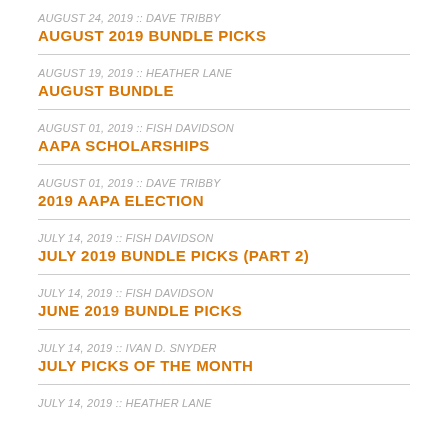AUGUST 24, 2019 :: DAVE TRIBBY
AUGUST 2019 BUNDLE PICKS
AUGUST 19, 2019 :: HEATHER LANE
AUGUST BUNDLE
AUGUST 01, 2019 :: FISH DAVIDSON
AAPA SCHOLARSHIPS
AUGUST 01, 2019 :: DAVE TRIBBY
2019 AAPA ELECTION
JULY 14, 2019 :: FISH DAVIDSON
JULY 2019 BUNDLE PICKS (PART 2)
JULY 14, 2019 :: FISH DAVIDSON
JUNE 2019 BUNDLE PICKS
JULY 14, 2019 :: IVAN D. SNYDER
JULY PICKS OF THE MONTH
JULY 14, 2019 :: HEATHER LANE